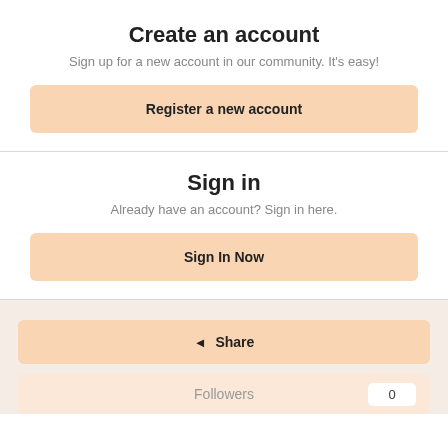Create an account
Sign up for a new account in our community. It's easy!
Register a new account
Sign in
Already have an account? Sign in here.
Sign In Now
Share
Followers  0